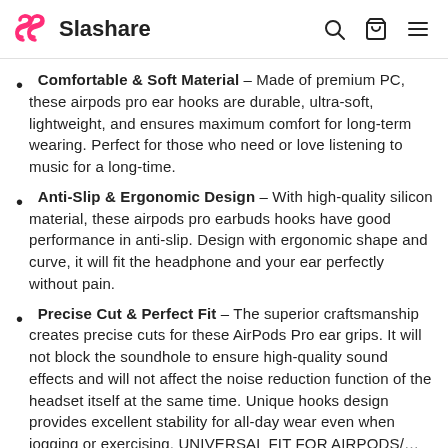Slashare
Comfortable & Soft Material – Made of premium PC, these airpods pro ear hooks are durable, ultra-soft, lightweight, and ensures maximum comfort for long-term wearing. Perfect for those who need or love listening to music for a long-time.
Anti-Slip & Ergonomic Design – With high-quality silicon material, these airpods pro earbuds hooks have good performance in anti-slip. Design with ergonomic shape and curve, it will fit the headphone and your ear perfectly without pain.
Precise Cut & Perfect Fit – The superior craftsmanship creates precise cuts for these AirPods Pro ear grips. It will not block the soundhole to ensure high-quality sound effects and will not affect the noise reduction function of the headset itself at the same time. Unique hooks design provides excellent stability for all-day wear even when jogging or exercising. UNIVERSAL FIT FOR AIRPODS/…